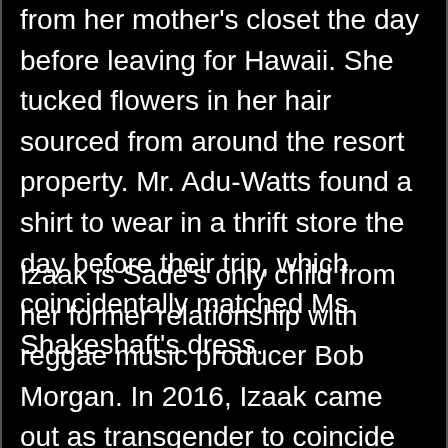from her mother's closet the day before leaving for Hawaii. She tucked flowers in her hair sourced from around the resort property. Mr. Adu-Watts found a shirt to wear in a thrift store the day before their trip, which coincidentally matched Ms. Shakeshaft's dress.
Izaak is Sade's only child from her former relationship with reggae music producer Bob Morgan. In 2016, Izaak came out as transgender to coincide with National Coming Out Day. Izaak Theo Adu, the female-to-male transgender son of musician Sade Adu has finally completed his transitioning after undergoing phalloplasty. The new Adu-Watts met online for the first